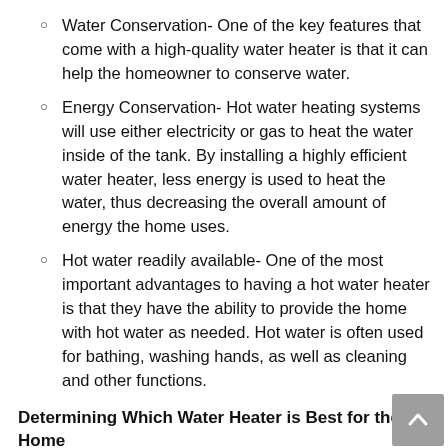Water Conservation- One of the key features that come with a high-quality water heater is that it can help the homeowner to conserve water.
Energy Conservation- Hot water heating systems will use either electricity or gas to heat the water inside of the tank. By installing a highly efficient water heater, less energy is used to heat the water, thus decreasing the overall amount of energy the home uses.
Hot water readily available- One of the most important advantages to having a hot water heater is that they have the ability to provide the home with hot water as needed. Hot water is often used for bathing, washing hands, as well as cleaning and other functions.
Determining Which Water Heater is Best for the Home
When selecting which water heater is the best fit for the home, there are some considerations to take into